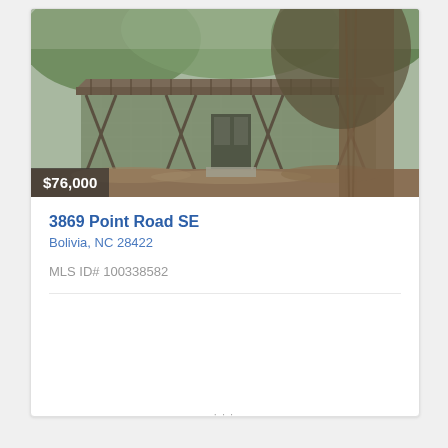[Figure (photo): Exterior photo of a rundown screened-in porch style house with a rusty corrugated metal roof, large oak tree in foreground right, and leaf-covered yard. Price overlay showing $76,000.]
3869 Point Road SE
Bolivia, NC 28422
MLS ID# 100338582